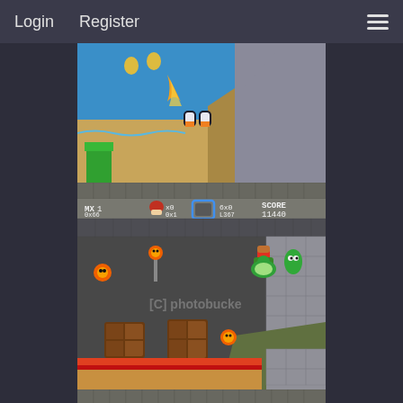Login   Register   ☰
[Figure (screenshot): Super Mario World SNES gameplay screenshot 1: beach/water level scene with penguins, green pipe, yellow coins and fire enemy]
[Figure (screenshot): Super Mario World SNES gameplay screenshot 2: ghost house level with HUD showing MX:1, 0x66, score 11440, 6x0, L367, Mario riding Yoshi, fireball enemies and wooden doors. Photobucket watermark visible.]
[Figure (screenshot): Super Mario World SNES gameplay screenshot 3 (partial): level with green pipe/pole, HUD showing MX:1, 0x70, score 12440, 6x0, L481, purple sky background]